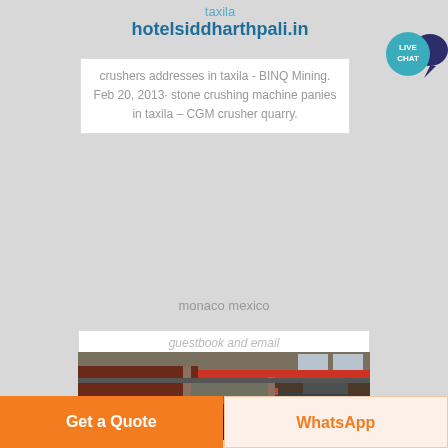taxila hotelsiddharthpali.in
crushers addresses in taxila - BINQ Mining. Feb 20, 2013· stone crushing machine panies in taxila – CGM crusher quarry.
monaco mexico
guestbook and email
[Figure (photo): Interior of an industrial factory/crushing plant facility showing red overhead crane structure, multi-level steel framework, and heavy machinery including what appears to be a large dark cylindrical crusher, with a corrugated metal roof and windows in the background.]
Get a Quote
WhatsApp